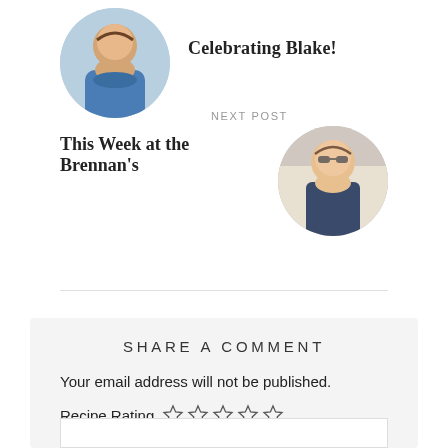[Figure (photo): Circular avatar photo of a child (Blake), upper left of page]
Celebrating Blake!
NEXT POST
This Week at the Brennan's
[Figure (photo): Circular avatar photo of a young girl standing outdoors, right side of page]
SHARE A COMMENT
Your email address will not be published.
Recipe Rating ☆☆☆☆☆